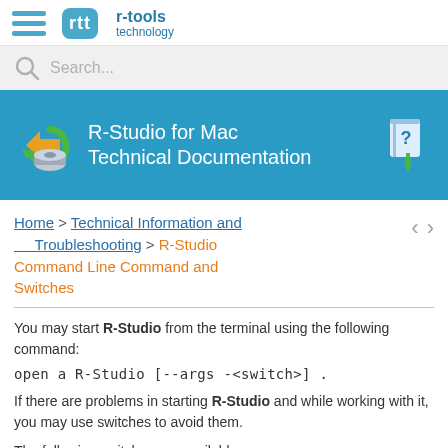r-tools technology
Search...
R-Studio for Mac Technical Documentation
Home > Technical Information and Troubleshooting > R-Studio Command Line Command and Switches
You may start R-Studio from the terminal using the following command:
If there are problems in starting R-Studio and while working with it, you may use switches to avoid them.
The following switches are available: